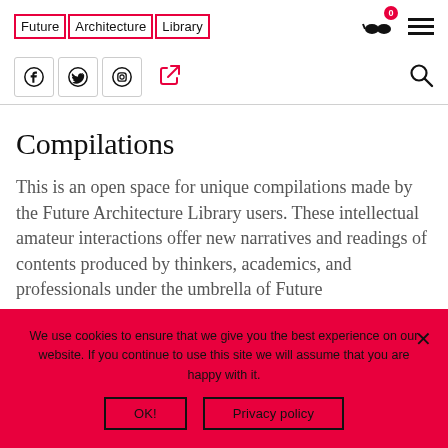Future Architecture Library
Compilations
This is an open space for unique compilations made by the Future Architecture Library users. These intellectual amateur interactions offer new narratives and readings of contents produced by thinkers, academics, and professionals under the umbrella of Future
We use cookies to ensure that we give you the best experience on our website. If you continue to use this site we will assume that you are happy with it. OK! Privacy policy